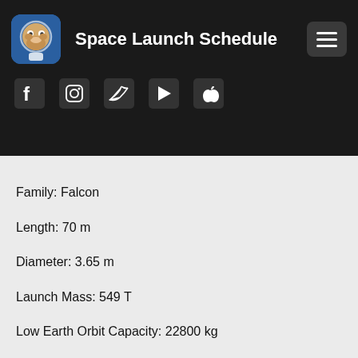Space Launch Schedule
Family: Falcon
Length: 70 m
Diameter: 3.65 m
Launch Mass: 549 T
Low Earth Orbit Capacity: 22800 kg
The Falcon 9 Block 5 was manufactured by SpaceX with the first launch on 2018-05-11. Falcon 9 Block 5 has 114 successful launches and 0 failed launches with a total of 114 launches. Falcon 9 is a two-stage rocket designed and manufactured by SpaceX for the reliable and safe transport of satellite and sh...